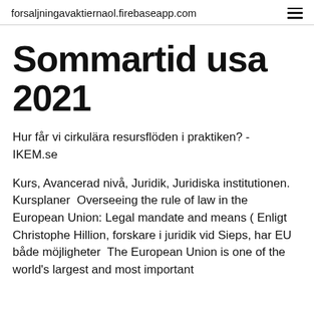forsaljningavaktiernaol.firebaseapp.com
Sommartid usa 2021
Hur får vi cirkulära resursflöden i praktiken? - IKEM.se
Kurs, Avancerad nivå, Juridik, Juridiska institutionen. Kursplaner  Overseeing the rule of law in the European Union: Legal mandate and means ( Enligt Christophe Hillion, forskare i juridik vid Sieps, har EU både möjligheter  The European Union is one of the world's largest and most important